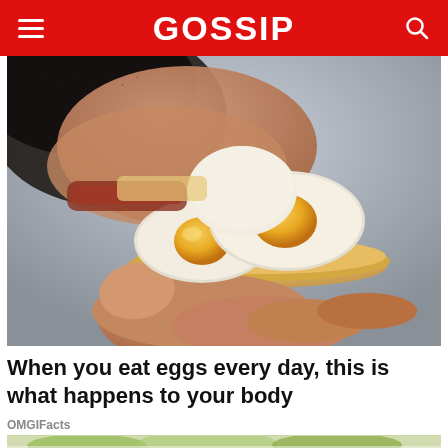GOSSIP
[Figure (photo): Close-up photo of a person eating sliced hard-boiled eggs on a cracker, held in hand against a gray background.]
When you eat eggs every day, this is what happens to your body
OMGIFacts
[Figure (photo): Close-up photo of a salad with green vegetables and sprouts on a white plate.]